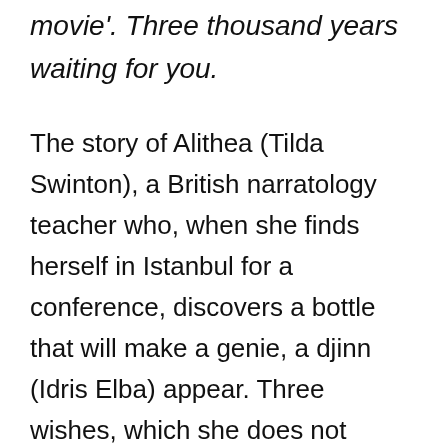movie'. Three thousand years waiting for you.
The story of Alithea (Tilda Swinton), a British narratology teacher who, when she finds herself in Istanbul for a conference, discovers a bottle that will make a genie, a djinn (Idris Elba) appear. Three wishes, which she does not desire, she whose loneliness is a choice. A discussion then begins between the two beings, each telling